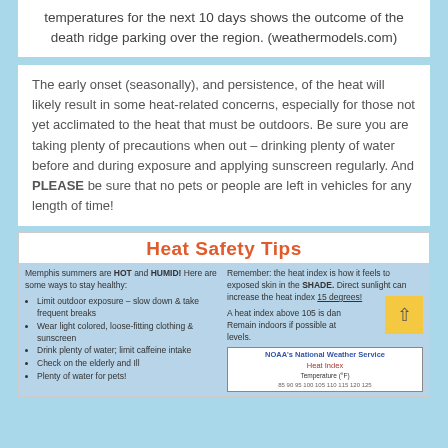temperatures for the next 10 days shows the outcome of the death ridge parking over the region. (weathermodels.com)
The early onset (seasonally), and persistence, of the heat will likely result in some heat-related concerns, especially for those not yet acclimated to the heat that must be outdoors. Be sure you are taking plenty of precautions when out – drinking plenty of water before and during exposure and applying sunscreen regularly. And PLEASE be sure that no pets or people are left in vehicles for any length of time!
Heat Safety Tips
Memphis summers are HOT and HUMID! Here are some ways to stay healthy:
Limit outdoor exposure – slow down & take frequent breaks
Wear light colored, loose-fitting clothing & sunscreen
Drink plenty of water; limit caffeine intake
Check on the elderly and Ill
Plenty of water for pets!
Remember: the heat index is how it feels to exposed skin in the SHADE. Direct sunlight can increase the heat index 15 degrees!
A heat index above 105 is dangerous. Remain indoors if possible at these levels.
[Figure (table-as-image): NOAA's National Weather Service Heat Index table showing Temperature (°F)]